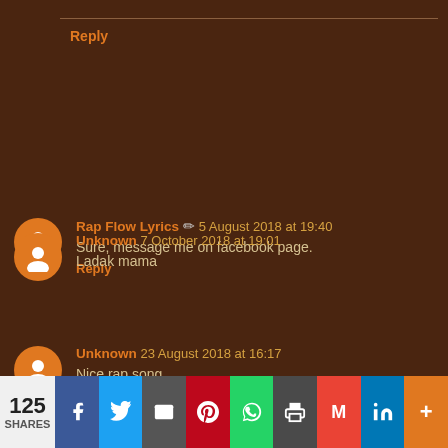Reply
Rap Flow Lyrics ✏ 5 August 2018 at 19:40
Sure, message me on facebook page.
Reply
Unknown 23 August 2018 at 16:17
Nice rap song
Reply
Unknown 7 October 2018 at 19:01
Ladak mama
125 SHARES | Facebook | Twitter | Email | Pinterest | WhatsApp | Print | Gmail | LinkedIn | More